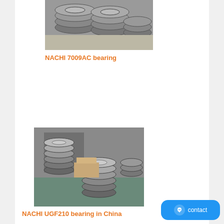[Figure (photo): Photograph of multiple NACHI 7009AC bearings stacked and grouped together on a surface]
NACHI 7009AC bearing
[Figure (photo): Photograph of multiple NACHI UGF210 bearings stacked in rows on shelves in a warehouse]
NACHI UGF210 bearing in China